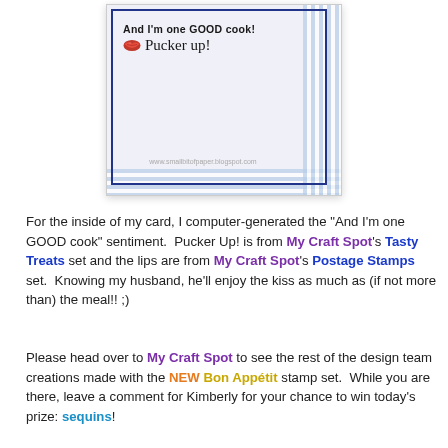[Figure (photo): Close-up photo of the inside of a handmade greeting card on light blue/lavender paper with a blue border. Text reads 'And I'm one GOOD cook!' with a red lips stamp and 'Pucker up!' in cursive handwriting. A blue gingham border is visible at the right and bottom edges. URL 'www.smallbitofpaper.blogspot.com' is visible at the bottom.]
For the inside of my card, I computer-generated the "And I'm one GOOD cook" sentiment.  Pucker Up! is from My Craft Spot's Tasty Treats set and the lips are from My Craft Spot's Postage Stamps set.  Knowing my husband, he'll enjoy the kiss as much as (if not more than) the meal!! ;)
Please head over to My Craft Spot to see the rest of the design team creations made with the NEW Bon Appétit stamp set.  While you are there, leave a comment for Kimberly for your chance to win today's prize: sequins!